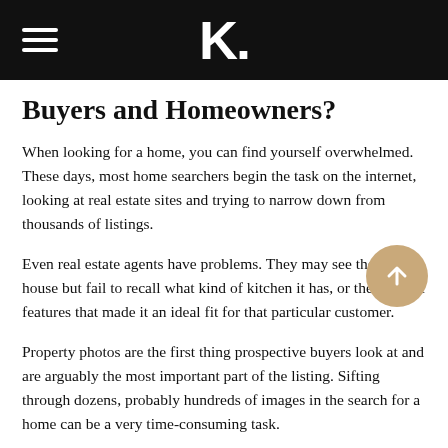K.
Buyers and Homeowners?
When looking for a home, you can find yourself overwhelmed. These days, most home searchers begin the task on the internet, looking at real estate sites and trying to narrow down from thousands of listings.
Even real estate agents have problems. They may see the perfect house but fail to recall what kind of kitchen it has, or the specific features that made it an ideal fit for that particular customer.
Property photos are the first thing prospective buyers look at and are arguably the most important part of the listing. Sifting through dozens, probably hundreds of images in the search for a home can be a very time-consuming task.
Here are some ways Computer Vision can help relieve these